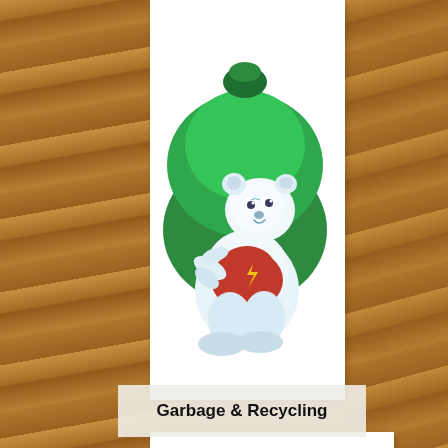[Figure (illustration): Cartoon white bear/creature sitting behind a large green garbage bag, wearing a red superhero outfit with yellow lightning bolt emblem]
Garbage & Recycling
[Figure (illustration): Cartoon white bear/creature standing upright wearing a red superhero outfit with yellow fish/lightning emblem, walking a green turtle on a leash. A circular scroll-up arrow button is visible in the lower right.]